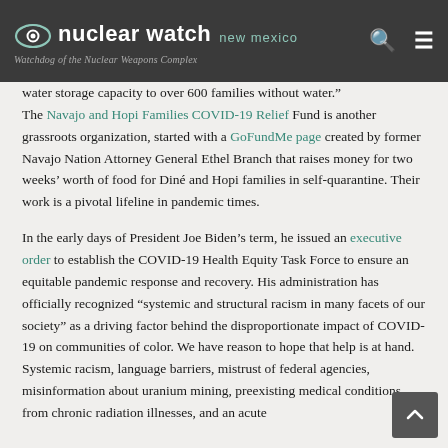nuclear watch new mexico | Watchdog of the Nuclear Weapons Complex
water storage capacity to over 600 families without water." The Navajo and Hopi Families COVID-19 Relief Fund is another grassroots organization, started with a GoFundMe page created by former Navajo Nation Attorney General Ethel Branch that raises money for two weeks' worth of food for Diné and Hopi families in self-quarantine. Their work is a pivotal lifeline in pandemic times.
In the early days of President Joe Biden’s term, he issued an executive order to establish the COVID-19 Health Equity Task Force to ensure an equitable pandemic response and recovery. His administration has officially recognized “systemic and structural racism in many facets of our society” as a driving factor behind the disproportionate impact of COVID-19 on communities of color. We have reason to hope that help is at hand. Systemic racism, language barriers, mistrust of federal agencies, misinformation about uranium mining, preexisting medical conditions from chronic radiation illnesses, and an acute